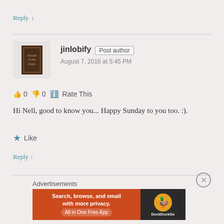Reply ↓
jinlobify  Post author
August 7, 2016 at 5:45 PM
👍 0  👎 0  ℹ Rate This
Hi Nell, good to know you... Happy Sunday to you too. :).
★ Like
Reply ↓
Advertisements
[Figure (screenshot): DuckDuckGo advertisement banner: Search, browse, and email with more privacy. All in One Free App. DuckDuckGo logo on dark background.]